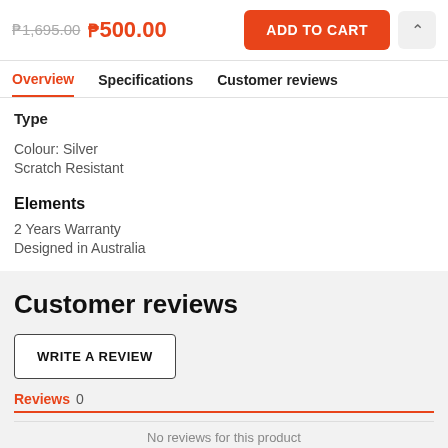₱1,695.00  ₱500.00  ADD TO CART
Overview  Specifications  Customer reviews
Type
Colour: Silver
Scratch Resistant
Elements
2 Years Warranty
Designed in Australia
Customer reviews
WRITE A REVIEW
Reviews  0
No reviews for this product